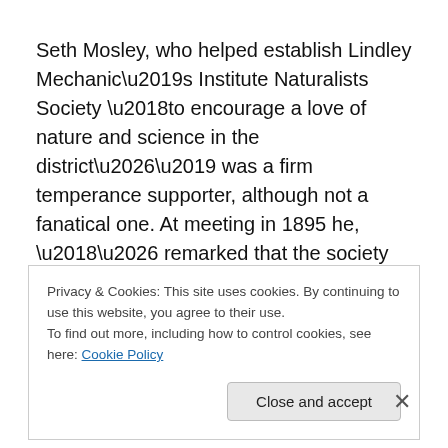Seth Mosley, who helped establish Lindley Mechanic’s Institute Naturalists Society ‘to encourage a love of nature and science in the district…’ was a firm temperance supporter, although not a fanatical one. At meeting in 1895 he,
‘… remarked that the society had been established under the most favourable conditions and that he had always
Privacy & Cookies: This site uses cookies. By continuing to use this website, you agree to their use.
To find out more, including how to control cookies, see here: Cookie Policy
Close and accept